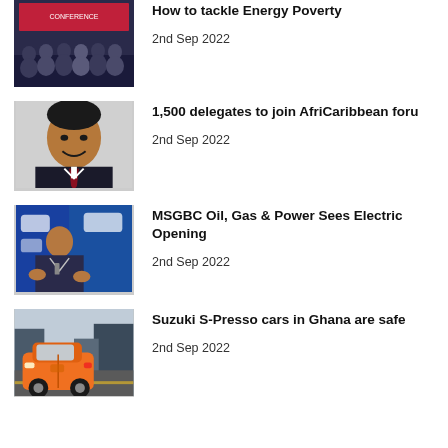[Figure (photo): Group of people on stage at a conference or event]
How to tackle Energy Poverty
2nd Sep 2022
[Figure (photo): Portrait of a man in a suit with a red tie, smiling]
1,500 delegates to join AfriCaribbean foru
2nd Sep 2022
[Figure (photo): Man in a suit speaking at a podium with blue background]
MSGBC Oil, Gas & Power Sees Electric Opening
2nd Sep 2022
[Figure (photo): Orange Suzuki S-Presso car on a city street]
Suzuki S-Presso cars in Ghana are safe
2nd Sep 2022